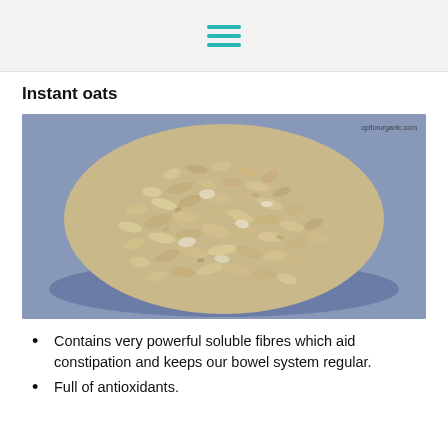[hamburger menu icon]
Instant oats
[Figure (photo): A blue bowl filled with dry instant oats/rolled oats viewed from above. Watermark reads 'optfororganic.com'.]
Contains very powerful soluble fibres which aid constipation and keeps our bowel system regular.
Full of antioxidants.